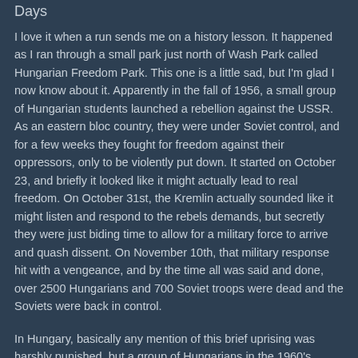Days
I love it when a run sends me on a history lesson. It happened as I ran through a small park just north of Wash Park called Hungarian Freedom Park. This one is a little sad, but I'm glad I now know about it. Apparently in the fall of 1956, a small group of Hungarian students launched a rebellion against the USSR. As an eastern bloc country, they were under Soviet control, and for a few weeks they fought for freedom against their oppressors, only to be violently put down. It started on October 23, and briefly it looked like it might actually lead to real freedom. On October 31st, the Kremlin actually sounded like it might listen and respond to the rebels demands, but secretly they were just biding time to allow for a military force to arrive and quash dissent. On November 10th, that military response hit with a vengeance, and by the time all was said and done, over 2500 Hungarians and 700 Soviet troops were dead and the Soviets were back in control.
In Hungary, basically any mention of this brief uprising was harshly punished, but a group of Hungarians in the 1960's